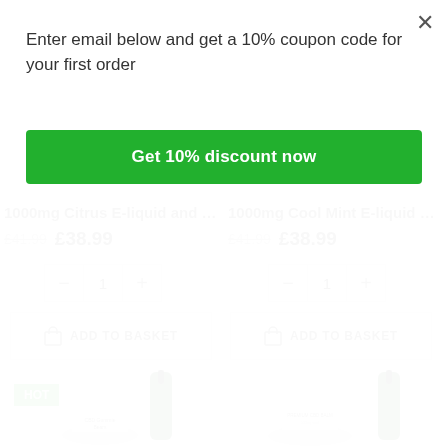Enter email below and get a 10% coupon code for your first order
Get 10% discount now
1000mg Citrus E-liquid and 20...
£41.99  £38.99
1000mg Cool Mint E-liquid an...
£41.99  £38.99
ADD TO BASKET
ADD TO BASKET
HOT